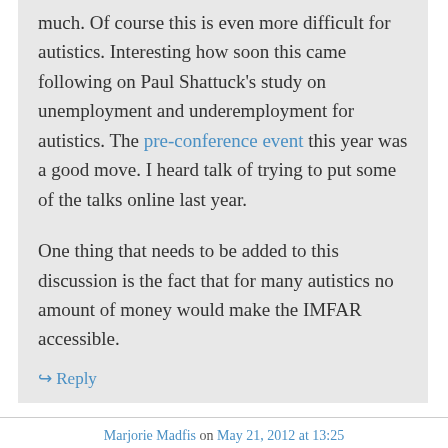much. Of course this is even more difficult for autistics. Interesting how soon this came following on Paul Shattuck's study on unemployment and underemployment for autistics. The pre-conference event this year was a good move. I heard talk of trying to put some of the talks online last year.

One thing that needs to be added to this discussion is the fact that for many autistics no amount of money would make the IMFAR accessible.
↪ Reply
Marjorie Madfis on May 21, 2012 at 13:25